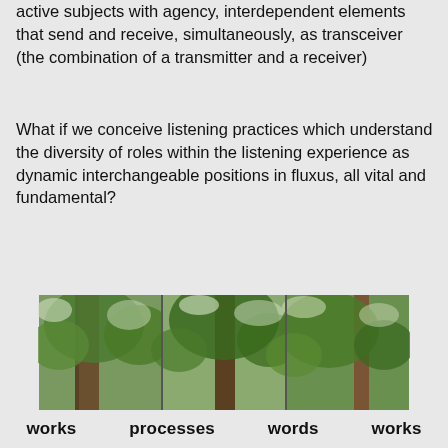active subjects with agency, interdependent elements that send and receive, simultaneously, as transceiver (the combination of a transmitter and a receiver)
What if we conceive listening practices which understand the diversity of roles within the listening experience as dynamic interchangeable positions in fluxus, all vital and fundamental?
[Figure (photo): Upward view of tall trees with green foliage against a bright sky, appearing as a triptych of three panels side by side.]
works   processes   words   works